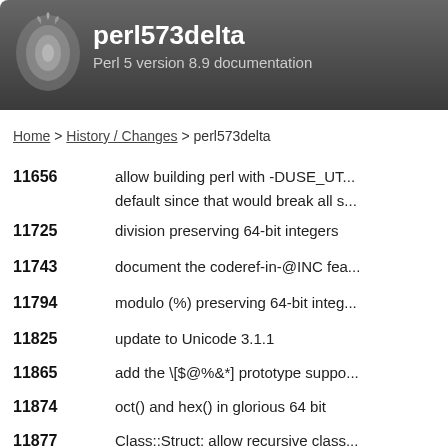perl573delta — Perl 5 version 8.9 documentation
Home > History / Changes > perl573delta
11656 — allow building perl with -DUSE_UT... default since that would break all s...
11725 — division preserving 64-bit integers
11743 — document the coderef-in-@INC fea...
11794 — modulo (%) preserving 64-bit integ...
11825 — update to Unicode 3.1.1
11865 — add the \[$@%&*] prototype suppo...
11874 — oct() and hex() in glorious 64 bit
11877 — Class::Struct: allow recursive class...
11993 — fix unpack U to be the reverse of...